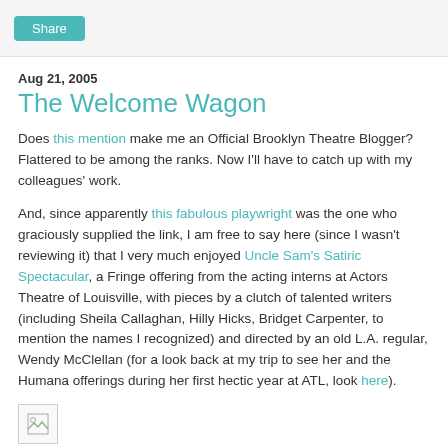Share
Aug 21, 2005
The Welcome Wagon
Does this mention make me an Official Brooklyn Theatre Blogger? Flattered to be among the ranks. Now I'll have to catch up with my colleagues' work.
And, since apparently this fabulous playwright was the one who graciously supplied the link, I am free to say here (since I wasn't reviewing it) that I very much enjoyed Uncle Sam's Satiric Spectacular, a Fringe offering from the acting interns at Actors Theatre of Louisville, with pieces by a clutch of talented writers (including Sheila Callaghan, Hilly Hicks, Bridget Carpenter, to mention the names I recognized) and directed by an old L.A. regular, Wendy McClellan (for a look back at my trip to see her and the Humana offerings during her first hectic year at ATL, look here).
[Figure (illustration): Small broken image placeholder icon]